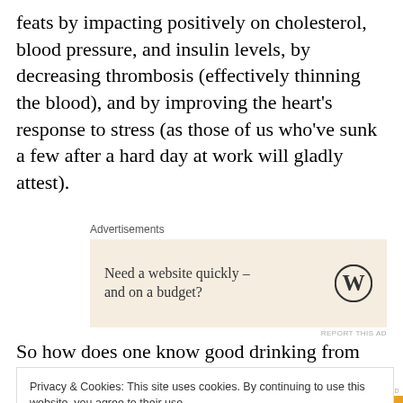feats by impacting positively on cholesterol, blood pressure, and insulin levels, by decreasing thrombosis (effectively thinning the blood), and by improving the heart's response to stress (as those of us who've sunk a few after a hard day at work will gladly attest).
[Figure (other): Advertisement banner: 'Need a website quickly – and on a budget?' with WordPress logo on beige background]
So how does one know good drinking from bad?
Privacy & Cookies: This site uses cookies. By continuing to use this website, you agree to their use.
To find out more, including how to control cookies, see here: Cookie Policy